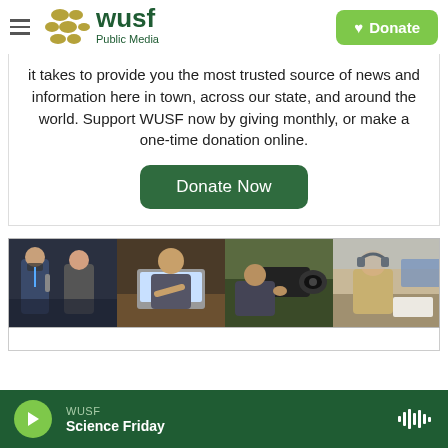WUSF Public Media — Donate
it takes to provide you the most trusted source of news and information here in town, across our state, and around the world. Support WUSF now by giving monthly, or make a one-time donation online.
Donate Now
[Figure (photo): Four-panel photo strip showing WUSF journalists at work: interviewing, working on laptop, operating camera, and recording in studio with headphones]
WUSF — Science Friday